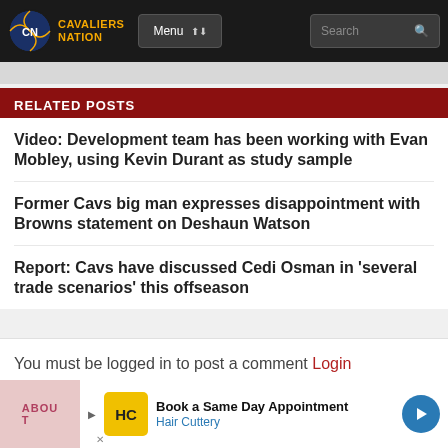Cavaliers Nation | Menu | Search
RELATED POSTS
Video: Development team has been working with Evan Mobley, using Kevin Durant as study sample
Former Cavs big man expresses disappointment with Browns statement on Deshaun Watson
Report: Cavs have discussed Cedi Osman in 'several trade scenarios' this offseason
You must be logged in to post a comment Login
ABOUT | Book a Same Day Appointment — Hair Cuttery